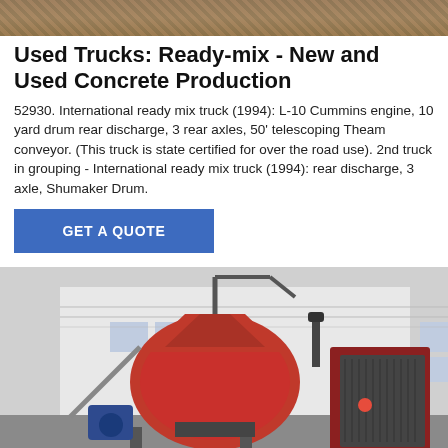[Figure (photo): Top partial photo strip of a concrete mixer truck or related machinery, brown/tan tones]
Used Trucks: Ready-mix - New and Used Concrete Production
52930. International ready mix truck (1994): L-10 Cummins engine, 10 yard drum rear discharge, 3 rear axles, 50' telescoping Theam conveyor. (This truck is state certified for over the road use). 2nd truck in grouping - International ready mix truck (1994): rear discharge, 3 axle, Shumaker Drum.
[Figure (other): Blue button labeled GET A QUOTE]
[Figure (photo): Red concrete mixer drum machinery parked in front of a white industrial building]
[Figure (other): Bottom action bar with Send Message button (blue) and Inquiry Online button (gold)]